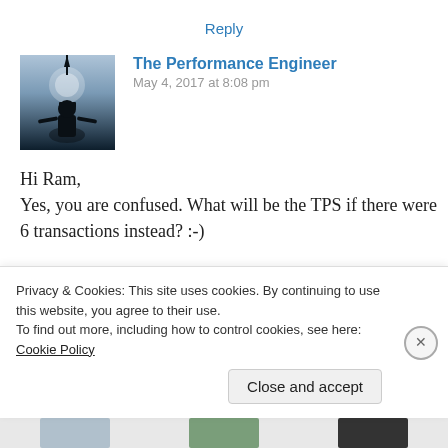Reply
The Performance Engineer
May 4, 2017 at 8:08 pm
[Figure (photo): Avatar silhouette of a dark figure against a blue-grey sky background]
Hi Ram,
Yes, you are confused. What will be the TPS if there were 6 transactions instead? :-)

Let me break it down further for you.
1 transaction in 10 sec (= 0.1 TPS)
Privacy & Cookies: This site uses cookies. By continuing to use this website, you agree to their use.
To find out more, including how to control cookies, see here: Cookie Policy
Close and accept